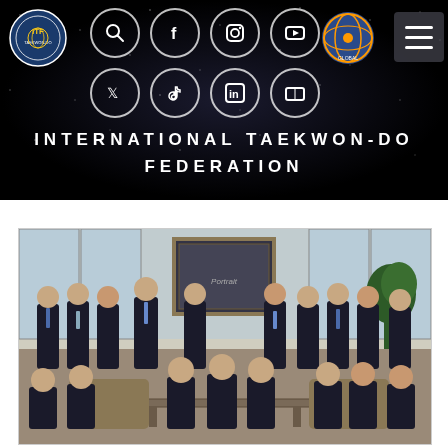[Figure (screenshot): International Taekwon-Do Federation website header with dark starfield background, ITF logo top-left, social media icons (search, facebook, instagram, youtube, twitter, tiktok, linkedin, tv), secondary logo top-right, hamburger menu button, and centered title text 'INTERNATIONAL TAEKWON-DO FEDERATION']
INTERNATIONAL TAEKWON-DO FEDERATION
[Figure (photo): Group photo of approximately 16 men in dark suits seated and standing in a formal meeting room with large framed portrait on the wall and large windows in background]